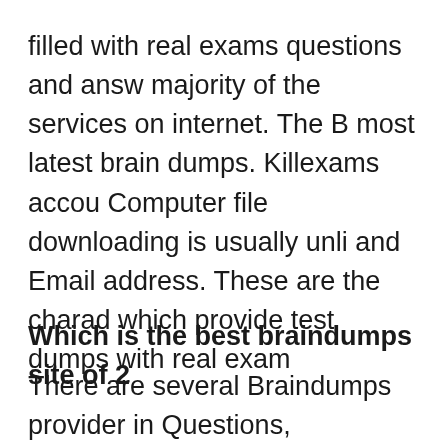filled with real exams questions and answers, majority of the services on internet. The B most latest brain dumps. Killexams accou Computer file downloading is usually unli and Email address. These are the charac which provide test dumps with real exam
Which is the best braindumps site of 2
There are several Braindumps provider in Questions, Braindumps, Practice Tests, S but most of them are re-sellers that do no best website of Year 2022 that understo